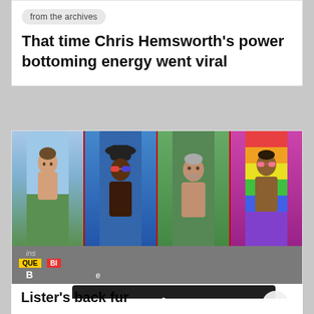from the archives
That time Chris Hemsworth's power bottoming energy went viral
[Figure (photo): Photo strip of four men side by side with colorful backgrounds]
[Figure (screenshot): Video error overlay: play icon and text 'The video cannot be played in this browser. (Error Code: 242632)' with close X button]
Lister's back fur